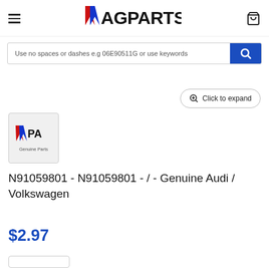WAGPARTS
Use no spaces or dashes e.g 06E90511G or use keywords
Click to expand
[Figure (logo): VPA Genuine Parts logo thumbnail]
N91059801 - N91059801 - / - Genuine Audi / Volkswagen
$2.97